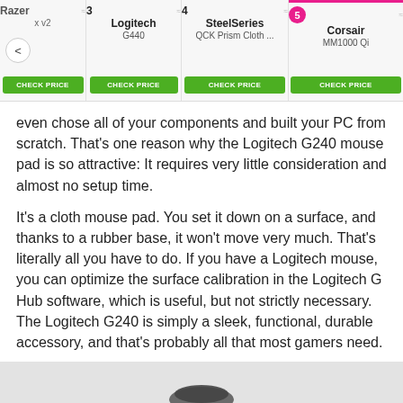Navigation bar showing: Razer (x v2), 3 Logitech G440, 4 SteelSeries QCK Prism Cloth ..., 5 Corsair MM1000 Qi — each with CHECK PRICE buttons
even chose all of your components and built your PC from scratch. That’s one reason why the Logitech G240 mouse pad is so attractive: It requires very little consideration and almost no setup time.
It’s a cloth mouse pad. You set it down on a surface, and thanks to a rubber base, it won’t move very much. That’s literally all you have to do. If you have a Logitech mouse, you can optimize the surface calibration in the Logitech G Hub software, which is useful, but not strictly necessary. The Logitech G240 is simply a sleek, functional, durable accessory, and that’s probably all that most gamers need.
[Figure (photo): Bottom portion of page showing a grey background with the top of a black gaming mouse visible]